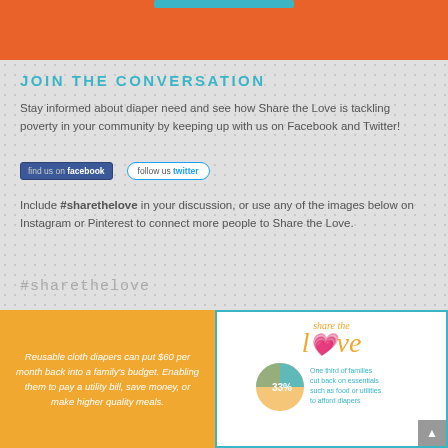[Figure (infographic): Top orange banner area with partial image]
JOIN THE CONVERSATION
Stay informed about diaper need and see how Share the Love is tackling poverty in your community by keeping up with us on Facebook and Twitter!
[Figure (infographic): Facebook and Twitter social media buttons]
Include #sharethelove in your discussion, or use any of the images below on Instagram or Pinterest to connect more people to Share the Love.
#sharethelove
[Figure (infographic): Bottom infographic: orange panel with cloth diaper savings text and teal panel with 'share the love' logo and pie chart showing 33% - one third of families cut back on essentials such as food or utilities to afford diapers]